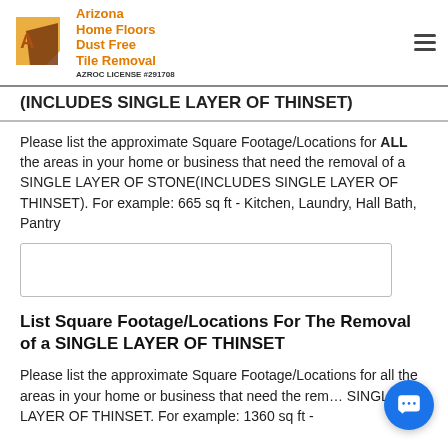Arizona Home Floors Dust Free Tile Removal AZROC LICENSE #291708
(INCLUDES SINGLE LAYER OF THINSET)
Please list the approximate Square Footage/Locations for ALL the areas in your home or business that need the removal of a SINGLE LAYER OF STONE(INCLUDES SINGLE LAYER OF THINSET). For example: 665 sq ft - Kitchen, Laundry, Hall Bath, Pantry
List Square Footage/Locations For The Removal of a SINGLE LAYER OF THINSET
Please list the approximate Square Footage/Locations for all the areas in your home or business that need the removal of a SINGLE LAYER OF THINSET. For example: 1360 sq ft -